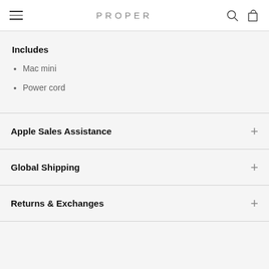PROPER
Includes
Mac mini
Power cord
Apple Sales Assistance
Global Shipping
Returns & Exchanges